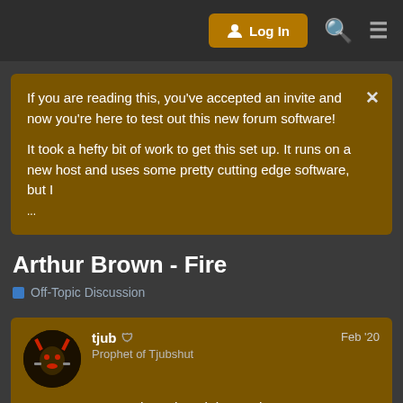Log In
If you are reading this, you've accepted an invite and now you're here to test out this new forum software!

It took a hefty bit of work to get this set up. It runs on a new host and uses some pretty cutting edge software, but I ...
Arthur Brown - Fire
Off-Topic Discussion
tjub
Prophet of Tjubshut
Feb '20

For some reason I keep imagining a Big Hat Sorcerer on top of a Ziggurat performing this song...

1 / 5